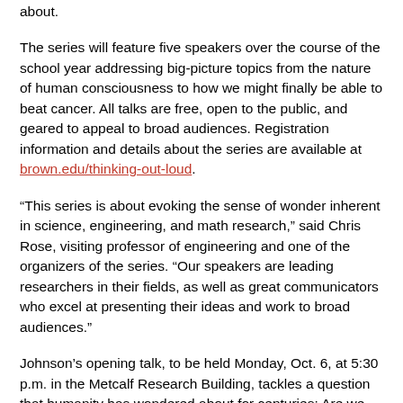about.
The series will feature five speakers over the course of the school year addressing big-picture topics from the nature of human consciousness to how we might finally be able to beat cancer. All talks are free, open to the public, and geared to appeal to broad audiences. Registration information and details about the series are available at brown.edu/thinking-out-loud.
“This series is about evoking the sense of wonder inherent in science, engineering, and math research,” said Chris Rose, visiting professor of engineering and one of the organizers of the series. “Our speakers are leading researchers in their fields, as well as great communicators who excel at presenting their ideas and work to broad audiences.”
Johnson’s opening talk, to be held Monday, Oct. 6, at 5:30 p.m. in the Metcalf Research Building, tackles a question that humanity has wondered about for centuries: Are we alone in the universe?
The existence of highly intelligent life on other planets within our own solar system has been all but ruled out. But could we discover life in solar systems elsewhere in the vastness of the Milky Way? The first step to answering that question is to search for suitable homes for that life — rocky planets orbiting their host stars in the not-too-hot, not-too-cold sweet